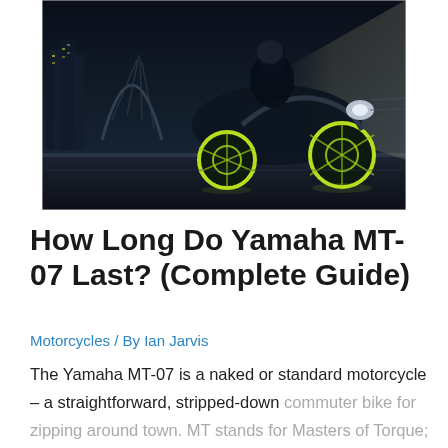[Figure (photo): Night-time photo of a Yamaha MT-07 motorcycle with neon green wheels ridden aggressively on a bridge, city skyline in the background]
How Long Do Yamaha MT-07 Last? (Complete Guide)
Motorcycles / By Ian Jarvis
The Yamaha MT-07 is a naked or standard motorcycle – a straightforward, stripped-down commuter bike for zipping around town. MT stands for Masters of Torque; its 689cc, liquid-cooled,